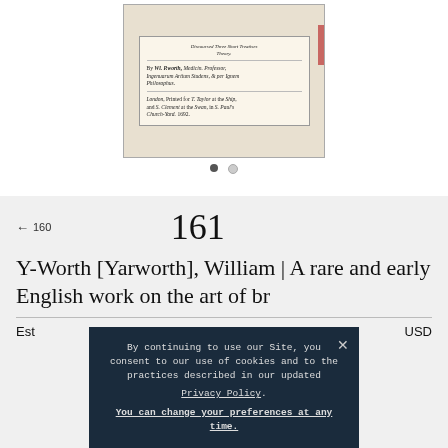[Figure (photo): Photograph of an antique book open to its title page, showing old English typeset text referencing 'W. Worth, Medicin. Professor, Ingenuarum Artium Studens, & per Ignem Philosophus' and printed in London 1692.]
• ○
← 160
161
Y-Worth [Yarworth], William | A rare and early English work on the art of br...
Est... USD
By continuing to use our Site, you consent to our use of cookies and to the practices described in our updated Privacy Policy. You can change your preferences at any time.